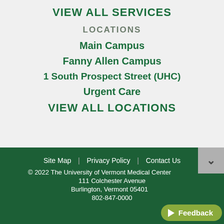VIEW ALL SERVICES
LOCATIONS
Main Campus
Fanny Allen Campus
1 South Prospect Street (UHC)
Urgent Care
VIEW ALL LOCATIONS
Site Map  |  Privacy Policy  |  Contact Us
© 2022 The University of Vermont Medical Center
111 Colchester Avenue
Burlington, Vermont 05401
802-847-0000